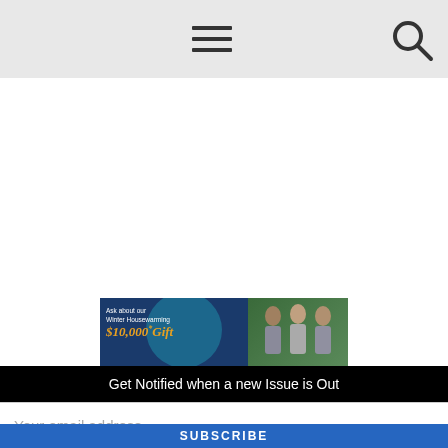Navigation header with hamburger menu and search icon
[Figure (photo): Advertisement banner for a Winter Housewarming $10,000* Gift promotion showing elderly people outdoors with teal/blue design]
Get Notified when a new Issue is Out
Your email address..
SUBSCRIBE